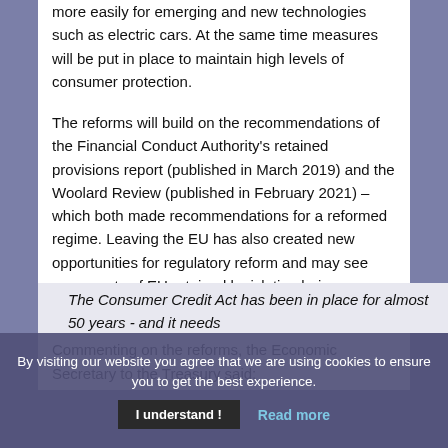more easily for emerging and new technologies such as electric cars. At the same time measures will be put in place to maintain high levels of consumer protection.
The reforms will build on the recommendations of the Financial Conduct Authority's retained provisions report (published in March 2019) and the Woolard Review (published in February 2021) – which both made recommendations for a reformed regime. Leaving the EU has also created new opportunities for regulatory reform and may see some parts of EU retained legislation being repealed or replaced.
Commenting on the reforms, the Economic Secretary to the Treasury said:
The Consumer Credit Act has been in place for almost 50 years - and it needs...
By visiting our website you agree that we are using cookies to ensure you to get the best experience.